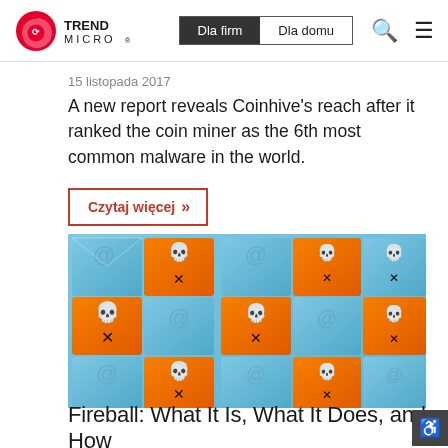Trend Micro | Dla firm | Dla domu
15 listopada 2017
A new report reveals Coinhive's reach after it ranked the coin miner as the 6th most common malware in the world.
Czytaj więcej »
[Figure (photo): Grid of orange and blue envelope icons with skull and crossbones symbols, representing malware/spam threats]
Fireball: What It Is, What It Does, and How